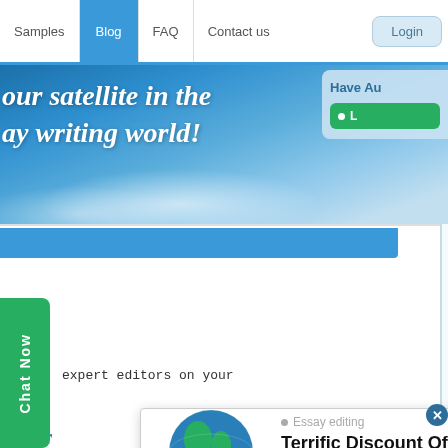Samples | Blog | FAQ | Contact us | Login
our satellite in the essay writing world!
Have An
L
expert editors on your
Chat Now
Search...
Subscribe to our b
Enter your e-mail
Categories
Essay editing
Terrific Discount Offer
CHECK THE DISCOUNT HERE
ay Wr